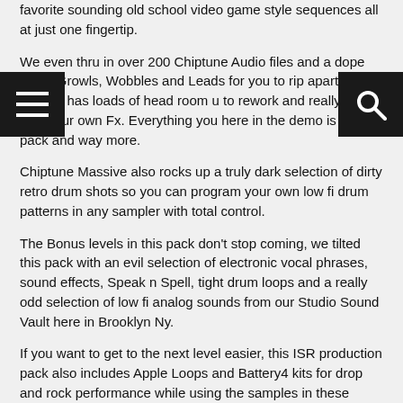favorite sounding old school video game style sequences all at just one fingertip.
We even thru in over 200 Chiptune Audio files and a dope set of Growls, Wobbles and Leads for you to rip apart. Each sample has loads of head room u to rework and really use with your own Fx. Everything you here in the demo is in the pack and way more.
Chiptune Massive also rocks up a truly dark selection of dirty retro drum shots so you can program your own low fi drum patterns in any sampler with total control.
The Bonus levels in this pack don't stop coming, we tilted this pack with an evil selection of electronic vocal phrases, sound effects, Speak n Spell, tight drum loops and a really odd selection of low fi analog sounds from our Studio Sound Vault here in Brooklyn Ny.
If you want to get to the next level easier, this ISR production pack also includes Apple Loops and Battery4 kits for drop and rock performance while using the samples in these formats.
If your looking for a upfront NI soundset of super tweaked video game style presets that you can play with one finger,  plus a ton of off the chain samples Which work great with Dubstep, Glitch Hop, Drum n Bass and just about any EDM style out. Then you should head over to ISR's sonic arcade for your next production.